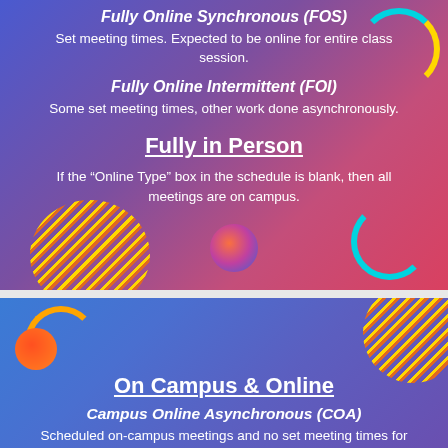Fully Online Synchronous (FOS)
Set meeting times. Expected to be online for entire class session.
Fully Online Intermittent (FOI)
Some set meeting times, other work done asynchronously.
Fully in Person
If the “Online Type” box in the schedule is blank, then all meetings are on campus.
On Campus & Online
Campus Online Asynchronous (COA)
Scheduled on-campus meetings and no set meeting times for online work.